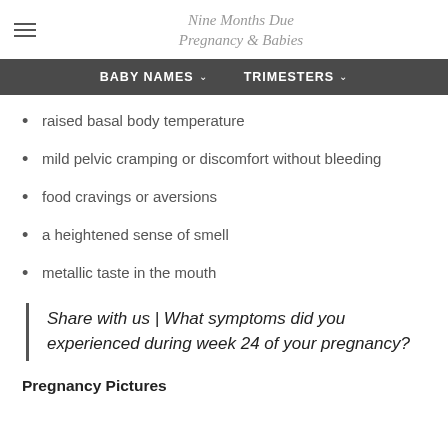Nine Months Due Pregnancy & Babies
raised basal body temperature
mild pelvic cramping or discomfort without bleeding
food cravings or aversions
a heightened sense of smell
metallic taste in the mouth
Share with us | What symptoms did you experienced during week 24 of your pregnancy?
Pregnancy Pictures